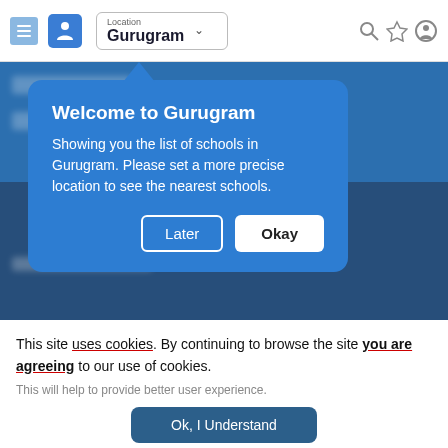[Figure (screenshot): Mobile app header with location dropdown showing 'Gurugram' and navigation icons]
[Figure (screenshot): Tooltip popup with blue background saying 'Welcome to Gurugram' with Later and Okay buttons]
This site uses cookies. By continuing to browse the site you are agreeing to our use of cookies.
This will help to provide better user experience.
Ok, I Understand